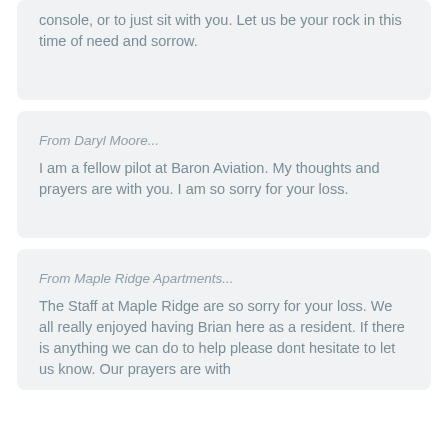console, or to just sit with you. Let us be your rock in this time of need and sorrow.
From Daryl Moore...
I am a fellow pilot at Baron Aviation. My thoughts and prayers are with you. I am so sorry for your loss.
From Maple Ridge Apartments...
The Staff at Maple Ridge are so sorry for your loss. We all really enjoyed having Brian here as a resident. If there is anything we can do to help please dont hesitate to let us know. Our prayers are with